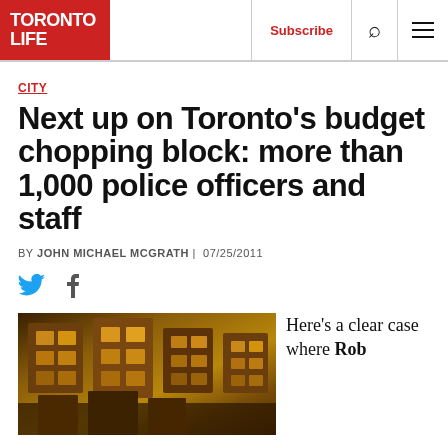TORONTO LIFE — Subscribe | Search | Menu
CITY
Next up on Toronto's budget chopping block: more than 1,000 police officers and staff
BY JOHN MICHAEL MCGRATH | 07/25/2011
[Figure (photo): Aerial or interior architectural photo of a building with wooden/brick facade, warm orange-brown tones, HDR style photography]
Here's a clear case where Rob